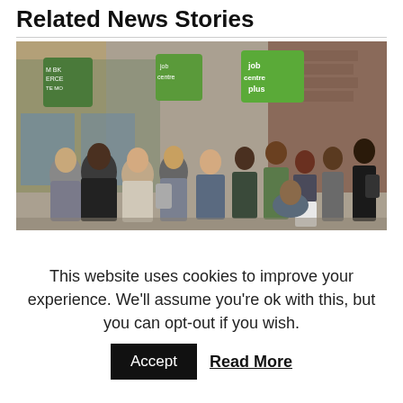Related News Stories
[Figure (photo): A queue of people standing outside a Jobcentre Plus office on a UK high street. Green Jobcentre Plus signs are visible above the entrance. Multiple people of various ages are standing in line along the pavement.]
This website uses cookies to improve your experience. We'll assume you're ok with this, but you can opt-out if you wish.
Accept   Read More